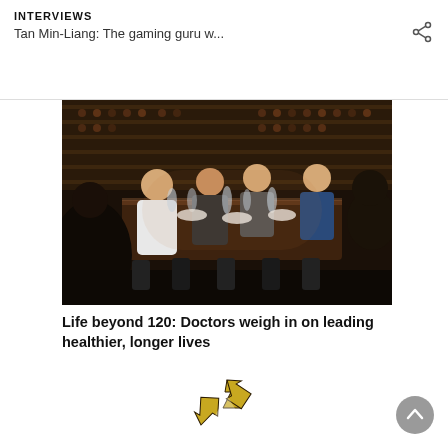INTERVIEWS
Tan Min-Liang: The gaming guru w...
[Figure (photo): Group of people seated around a long dining table in a restaurant with wine shelves in background, smiling and laughing]
Life beyond 120: Doctors weigh in on leading healthier, longer lives
[Figure (photo): Gold recycling symbol / arrows icon (partial, cropped at bottom)]